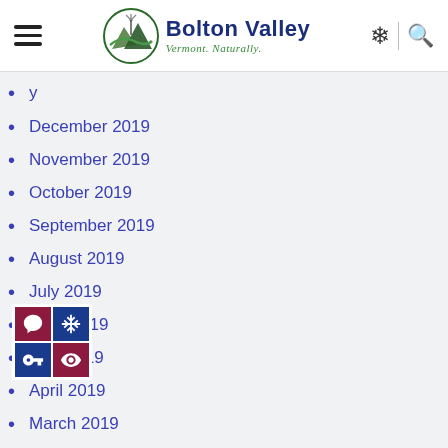Bolton Valley — Vermont. Naturally.
(partial month item cut off at top)
December 2019
November 2019
October 2019
September 2019
August 2019
July 2019
June 2019
May 2019
April 2019
March 2019
February 2019
December 2018
November 2018
October 2018
September 2018
July 2018
[Figure (other): Social media icon grid: 2x2 grid with chat bubble, snowflake/leaf, key, and eye icons on dark red and dark blue backgrounds]